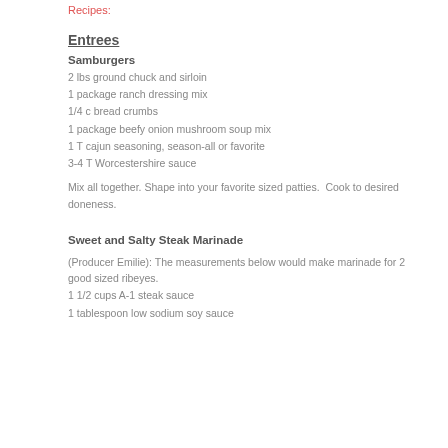Recipes:
Entrees
Samburgers
2 lbs ground chuck and sirloin
1 package ranch dressing mix
1/4 c bread crumbs
1 package beefy onion mushroom soup mix
1 T cajun seasoning, season-all or favorite
3-4 T Worcestershire sauce
Mix all together. Shape into your favorite sized patties.  Cook to desired doneness.
Sweet and Salty Steak Marinade
(Producer Emilie): The measurements below would make marinade for 2 good sized ribeyes.
1 1/2 cups A-1 steak sauce
1 tablespoon low sodium soy sauce